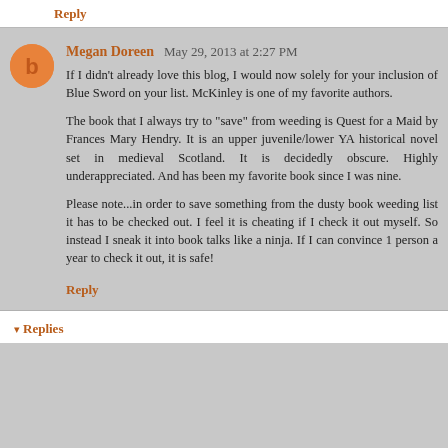Reply
Megan Doreen May 29, 2013 at 2:27 PM
If I didn't already love this blog, I would now solely for your inclusion of Blue Sword on your list. McKinley is one of my favorite authors.
The book that I always try to "save" from weeding is Quest for a Maid by Frances Mary Hendry. It is an upper juvenile/lower YA historical novel set in medieval Scotland. It is decidedly obscure. Highly underappreciated. And has been my favorite book since I was nine.
Please note...in order to save something from the dusty book weeding list it has to be checked out. I feel it is cheating if I check it out myself. So instead I sneak it into book talks like a ninja. If I can convince 1 person a year to check it out, it is safe!
Reply
Replies